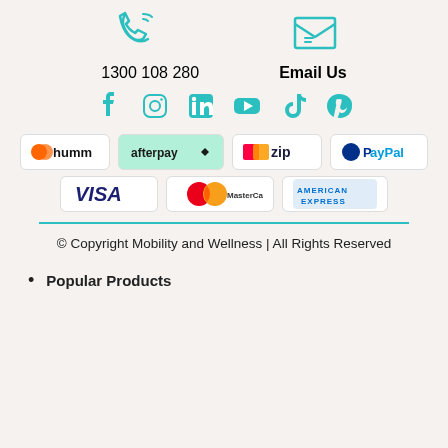[Figure (illustration): Phone icon and envelope/email icon in teal color]
1300 108 280
Email Us
[Figure (illustration): Social media icons: Facebook, Instagram, LinkedIn, YouTube, TikTok, Pinterest in teal]
[Figure (illustration): Payment method logos: humm, afterpay, zip, PayPal, VISA, MasterCard, American Express]
© Copyright Mobility and Wellness | All Rights Reserved
Popular Products